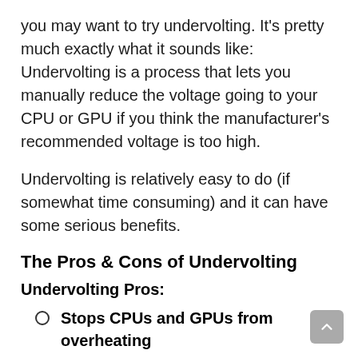you may want to try undervolting. It's pretty much exactly what it sounds like: Undervolting is a process that lets you manually reduce the voltage going to your CPU or GPU if you think the manufacturer's recommended voltage is too high.
Undervolting is relatively easy to do (if somewhat time consuming) and it can have some serious benefits.
The Pros & Cons of Undervolting
Undervolting Pros:
Stops CPUs and GPUs from overheating
Increases lifespan of CPUs and GPUs